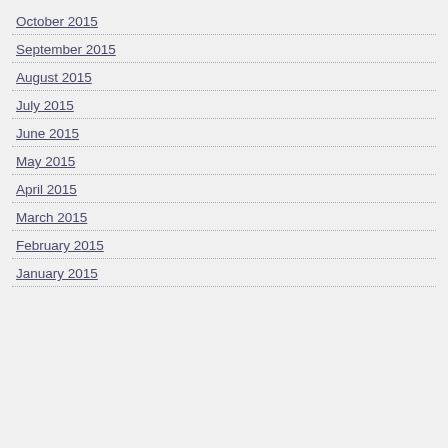October 2015
September 2015
August 2015
July 2015
June 2015
May 2015
April 2015
March 2015
February 2015
January 2015